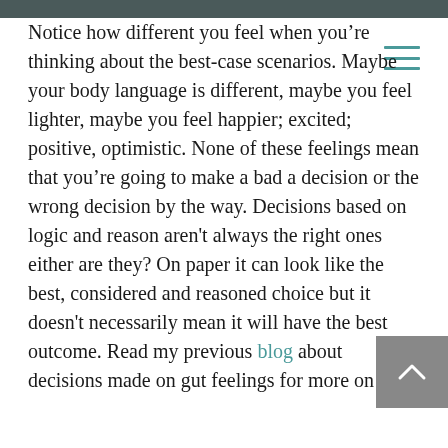[Figure (photo): Dark teal/grey image strip at top of page, partially cropped]
Notice how different you feel when you're thinking about the best-case scenarios. Maybe your body language is different, maybe you feel lighter, maybe you feel happier; excited; positive, optimistic. None of these feelings mean that you're going to make a bad a decision or the wrong decision by the way. Decisions based on logic and reason aren't always the right ones either are they? On paper it can look like the best, considered and reasoned choice but it doesn't necessarily mean it will have the best outcome. Read my previous blog about decisions made on gut feelings for more on that.